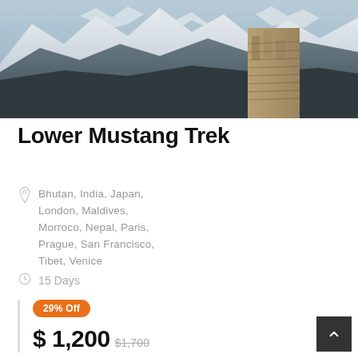[Figure (photo): Mountain landscape with snow-capped peaks and a stone structure/stupa in the foreground against rocky terrain]
Lower Mustang Trek
Bhutan, India, Japan, London, Maldives, Morroco, Nepal, Paris, Prague, San Francisco, Tibet, Venice
15 Days
29% Off
$ 1,200 $1,700